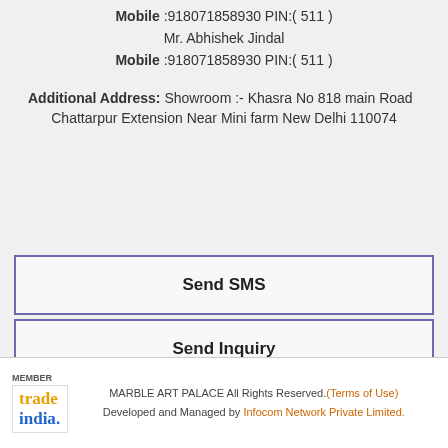Mobile :918071858930 PIN:( 511 )
Mr. Abhishek Jindal
Mobile :918071858930 PIN:( 511 )
Additional Address: Showroom :- Khasra No 818 main Road Chattarpur Extension Near Mini farm New Delhi 110074
Send SMS
Send Inquiry
MARBLE ART PALACE All Rights Reserved. (Terms of Use) Developed and Managed by Infocom Network Private Limited.